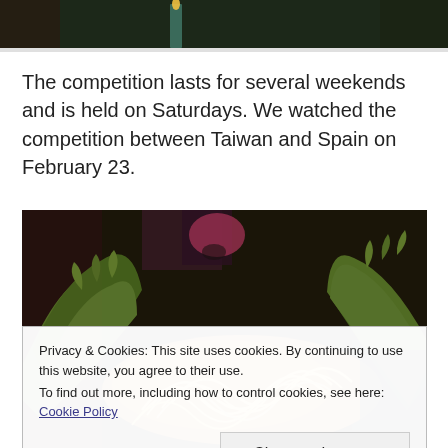[Figure (photo): Dark photo of a restaurant/event setting, partially visible at top of page]
The competition lasts for several weekends and is held on Saturdays. We watched the competition between Taiwan and Spain on February 23.
[Figure (photo): Food photo showing a dish with lettuce leaves and noodles, taken at a restaurant competition]
Privacy & Cookies: This site uses cookies. By continuing to use this website, you agree to their use.
To find out more, including how to control cookies, see here: Cookie Policy
[Close and accept]